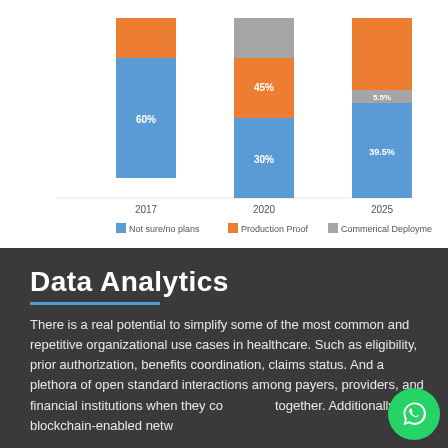[Figure (stacked-bar-chart): Blockchain in Healthcare]
Data Analytics
There is a real potential to simplify some of the most common and repetitive organizational use cases in healthcare. Such as eligibility, prior authorization, benefits coordination, claims status. And a plethora of open standard interactions among payers, providers, and financial institutions when they come together. Additionally, a blockchain-enabled network